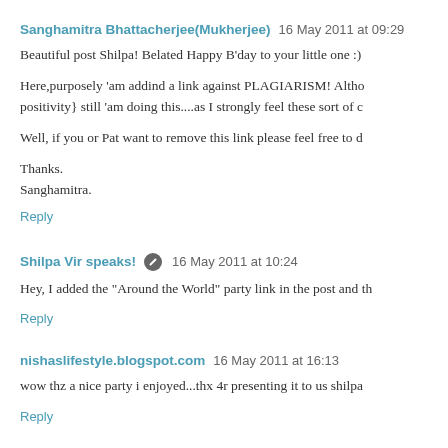Sanghamitra Bhattacherjee(Mukherjee)   16 May 2011 at 09:29
Beautiful post Shilpa! Belated Happy B'day to your little one :)
Here,purposely 'am addind a link against PLAGIARISM! Altho positivity} still 'am doing this....as I strongly feel these sort of c
Well, if you or Pat want to remove this link please feel free to d
Thanks.
Sanghamitra.
Reply
Shilpa Vir speaks!   16 May 2011 at 10:24
Hey, I added the "Around the World" party link in the post and th
Reply
nishaslifestyle.blogspot.com   16 May 2011 at 16:13
wow thz a nice party i enjoyed...thx 4r presenting it to us shilpa
Reply